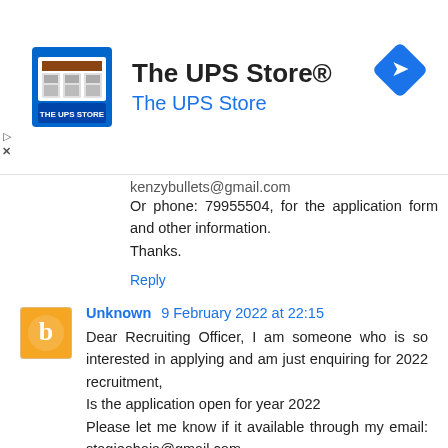[Figure (logo): The UPS Store advertisement banner with store logo image, The UPS Store® title, The UPS Store subtitle in blue, and a blue diamond navigation icon on the right]
kenzybullets@gmail.com
Or phone: 79955504, for the application form and other information.
Thanks.
Reply
Unknown  9 February 2022 at 22:15
Dear Recruiting Officer, I am someone who is so interested in applying and am just enquiring for 2022 recruitment,
Is the application open for year 2022
Please let me know if it available through my email: stagieohoja@gmail.com
Thank you...
Reply